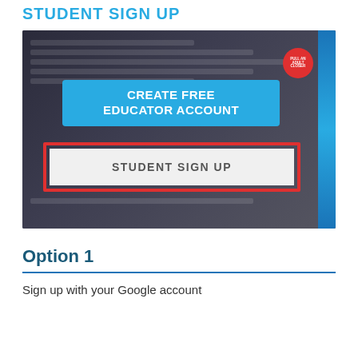STUDENT SIGN UP
[Figure (screenshot): Screenshot of a website showing two buttons: a blue 'CREATE FREE EDUCATOR ACCOUNT' button and a white 'STUDENT SIGN UP' button highlighted with a red border outline.]
Option 1
Sign up with your Google account